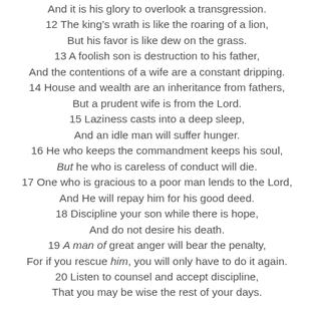And it is his glory to overlook a transgression.
12 The king’s wrath is like the roaring of a lion,
But his favor is like dew on the grass.
13 A foolish son is destruction to his father,
And the contentions of a wife are a constant dripping.
14 House and wealth are an inheritance from fathers,
But a prudent wife is from the Lord.
15 Laziness casts into a deep sleep,
And an idle man will suffer hunger.
16 He who keeps the commandment keeps his soul,
But he who is careless of conduct will die.
17 One who is gracious to a poor man lends to the Lord,
And He will repay him for his good deed.
18 Discipline your son while there is hope,
And do not desire his death.
19 A man of great anger will bear the penalty,
For if you rescue him, you will only have to do it again.
20 Listen to counsel and accept discipline,
That you may be wise the rest of your days.